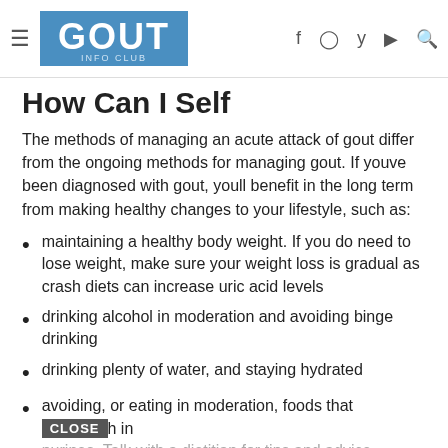GOUT INFO CLUB
How Can I Self
The methods of managing an acute attack of gout differ from the ongoing methods for managing gout. If youve been diagnosed with gout, youll benefit in the long term from making healthy changes to your lifestyle, such as:
maintaining a healthy body weight. If you do need to lose weight, make sure your weight loss is gradual as crash diets can increase uric acid levels
drinking alcohol in moderation and avoiding binge drinking
drinking plenty of water, and staying hydrated
avoiding, or eating in moderation, foods that are high in purines. Talk with a dietitian for tips and advice
exercising regularly aim to complete at least 30 minutes